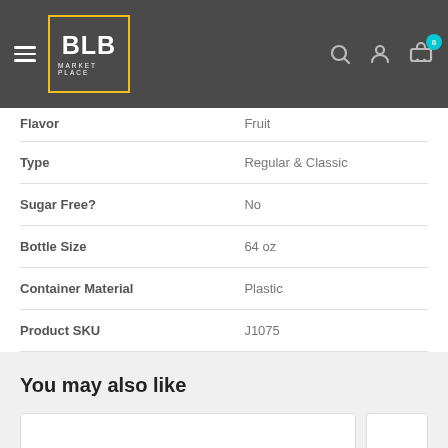BLB MARKET PLACE
| Attribute | Value |
| --- | --- |
| Flavor | Fruit |
| Type | Regular & Classic |
| Sugar Free? | No |
| Bottle Size | 64 oz |
| Container Material | Plastic |
| Product SKU | J1075 |
You may also like